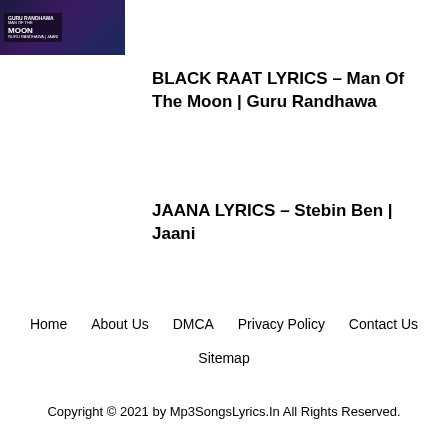[Figure (photo): Thumbnail image for Black Raat Lyrics - Man Of The Moon by Guru Randhawa, dark blue/purple background with text overlay]
BLACK RAAT LYRICS – Man Of The Moon | Guru Randhawa
JAANA LYRICS – Stebin Ben | Jaani
Home   About Us   DMCA   Privacy Policy   Contact Us
Sitemap
Copyright © 2021 by Mp3SongsLyrics.In All Rights Reserved.